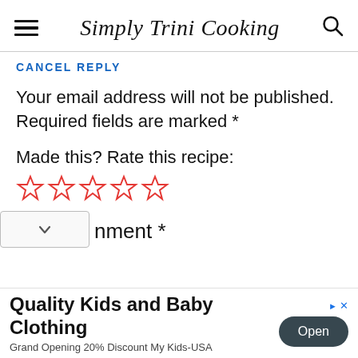Simply Trini Cooking
CANCEL REPLY
Your email address will not be published. Required fields are marked *
Made this? Rate this recipe:
[Figure (other): Five empty star rating icons in red outline]
nment *
Quality Kids and Baby Clothing
Grand Opening 20% Discount My Kids-USA